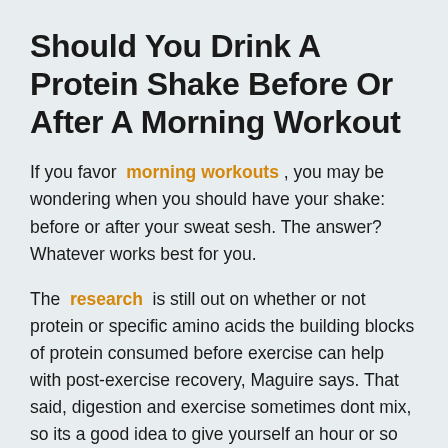Should You Drink A Protein Shake Before Or After A Morning Workout
If you favor morning workouts , you may be wondering when you should have your shake: before or after your sweat sesh. The answer? Whatever works best for you.
The research is still out on whether or not protein or specific amino acids the building blocks of protein consumed before exercise can help with post-exercise recovery, Maguire says. That said, digestion and exercise sometimes dont mix, so its a good idea to give yourself an hour or so between your shake and your workout.
When it comes to protein timing , total daily intake may